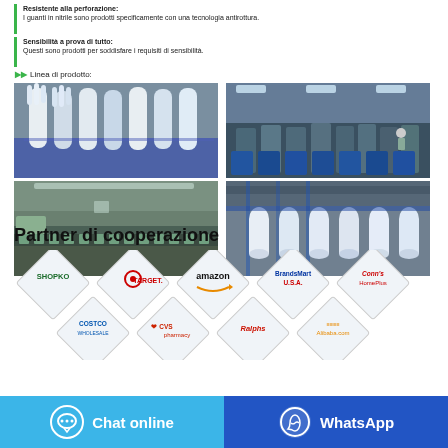Resistente alla perforazione: I guanti in nitrile sono prodotti specificamente con una tecnologia antirottura.
Sensibilità a prova di tutto: Questi sono prodotti per soddisfare i requisiti di sensibilità.
▶▶ Linea di prodotto:
[Figure (photo): Four photos of nitrile gloves manufacturing: gloves hanging, factory floor with machinery, production line conveyor, and rows of glove molds.]
Partner di cooperazione
[Figure (logo): Partner logos in diamond shapes: Shopko, Target, amazon, BrandsMart USA, Conn's HomePlus, Costco Wholesale, CVS pharmacy, Ralphs, Alibaba.com]
Chat online
WhatsApp